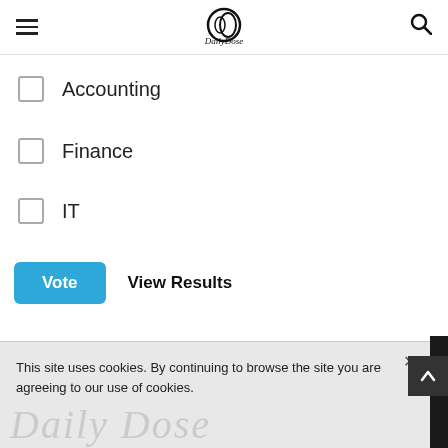DailyDose logo with hamburger menu and search icon
Accounting
Finance
IT
Vote   View Results
This site uses cookies. By continuing to browse the site you are agreeing to our use of cookies.